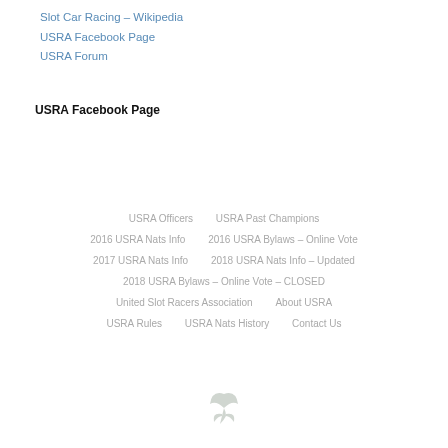Slot Car Racing – Wikipedia
USRA Facebook Page
USRA Forum
USRA Facebook Page
USRA Officers | USRA Past Champions | 2016 USRA Nats Info | 2016 USRA Bylaws – Online Vote | 2017 USRA Nats Info | 2018 USRA Nats Info – Updated | 2018 USRA Bylaws – Online Vote – CLOSED | United Slot Racers Association | About USRA | USRA Rules | USRA Nats History | Contact Us